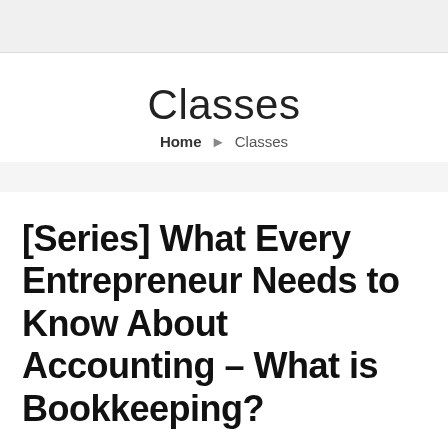Classes
Home › Classes
[Series] What Every Entrepreneur Needs to Know About Accounting – What is Bookkeeping?
Ed Barton   May 12, 2021